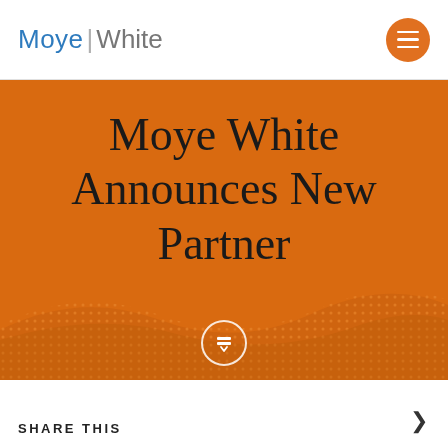Moye White [logo with navigation menu button]
Moye White Announces New Partner
SHARE THIS